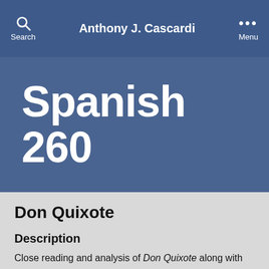Anthony J. Cascardi
Spanish 260
Don Quixote
Description
Close reading and analysis of Don Quixote along with